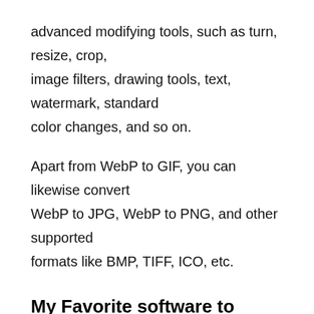advanced modifying tools, such as turn, resize, crop, image filters, drawing tools, text, watermark, standard color changes, and so on.
Apart from WebP to GIF, you can likewise convert WebP to JPG, WebP to PNG, and other supported formats like BMP, TIFF, ICO, etc.
My Favorite software to transform WebP to GIF:
Picosmos is my favorite freeware to transform a WebP image to GIF. It supplies versatility to batch transform WebP to GIF. You can also use other